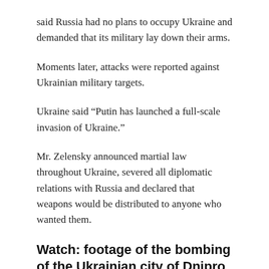said Russia had no plans to occupy Ukraine and demanded that its military lay down their arms.
Moments later, attacks were reported against Ukrainian military targets.
Ukraine said “Putin has launched a full-scale invasion of Ukraine.”
Mr. Zelensky announced martial law throughout Ukraine, severed all diplomatic relations with Russia and declared that weapons would be distributed to anyone who wanted them.
Watch: footage of the bombing of the Ukrainian city of Dnipro
[Figure (photo): Dark nighttime photo showing orange fire and smoke from the bombing of the Ukrainian city of Dnipro]